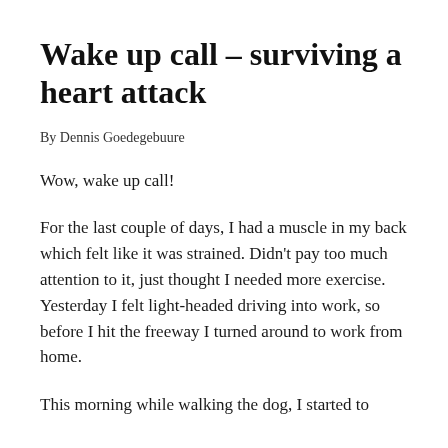Wake up call – surviving a heart attack
By Dennis Goedegebuure
Wow, wake up call!
For the last couple of days, I had a muscle in my back which felt like it was strained. Didn't pay too much attention to it, just thought I needed more exercise.
Yesterday I felt light-headed driving into work, so before I hit the freeway I turned around to work from home.
This morning while walking the dog, I started to feel really bad. To make a very long story short...